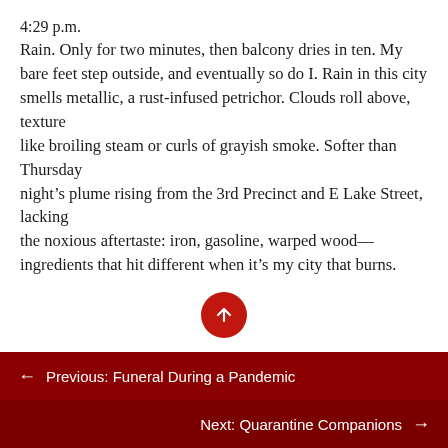4:29 p.m.
Rain. Only for two minutes, then balcony dries in ten. My bare feet step outside, and eventually so do I. Rain in this city
smells metallic, a rust-infused petrichor. Clouds roll above, texture
like broiling steam or curls of grayish smoke. Softer than Thursday
night's plume rising from the 3rd Precinct and E Lake Street, lacking
the noxious aftertaste: iron, gasoline, warped wood—ingredients that hit different when it's my city that burns.
← Previous: Funeral During a Pandemic
Next: Quarantine Companions →